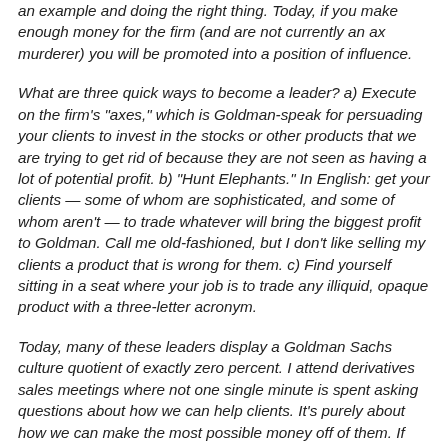an example and doing the right thing. Today, if you make enough money for the firm (and are not currently an ax murderer) you will be promoted into a position of influence.
What are three quick ways to become a leader? a) Execute on the firm's "axes," which is Goldman-speak for persuading your clients to invest in the stocks or other products that we are trying to get rid of because they are not seen as having a lot of potential profit. b) "Hunt Elephants." In English: get your clients — some of whom are sophisticated, and some of whom aren't — to trade whatever will bring the biggest profit to Goldman. Call me old-fashioned, but I don't like selling my clients a product that is wrong for them. c) Find yourself sitting in a seat where your job is to trade any illiquid, opaque product with a three-letter acronym.
Today, many of these leaders display a Goldman Sachs culture quotient of exactly zero percent. I attend derivatives sales meetings where not one single minute is spent asking questions about how we can help clients. It's purely about how we can make the most possible money off of them. If you were an alien from Mars and sat in on one of these meetings, you would believe that a client's success or